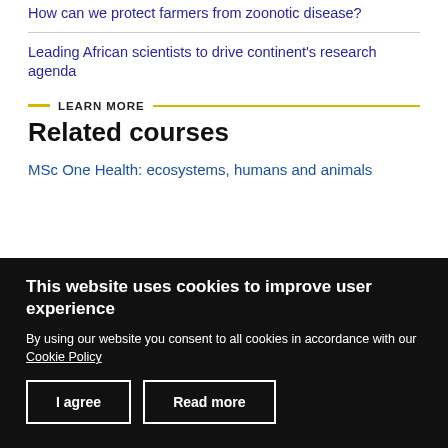How can we protect farmers from zoonotic disease?
Leading African scientists to drive continent's research agenda
LEARN MORE
Related courses
MSc One Health: ecosystems, humans and animals
This website uses cookies to improve user experience
By using our website you consent to all cookies in accordance with our Cookie Policy
I agree
Read more